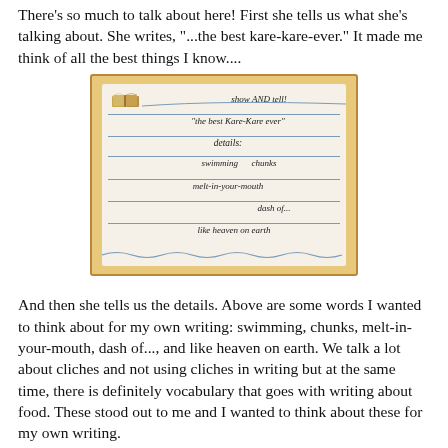There's so much to talk about here! First she tells us what she's talking about. She writes, "...the best kare-kare-ever." It made me think of all the best things I know....
[Figure (photo): A photo of a handwritten notebook page with an orange border. The page shows handwritten notes including: 'show AND tell!', '"the best Kare-Kare ever"', 'details:', 'swimming   chunks', 'melt-in-your-mouth', 'dash of...', 'like heaven on earth'. A small book icon appears at the top of the page.]
And then she tells us the details. Above are some words I wanted to think about for my own writing: swimming, chunks, melt-in-your-mouth, dash of..., and like heaven on earth. We talk a lot about cliches and not using cliches in writing but at the same time, there is definitely vocabulary that goes with writing about food. These stood out to me and I wanted to think about these for my own writing.